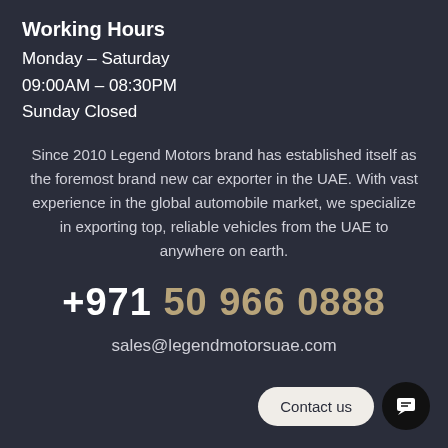Working Hours
Monday – Saturday
09:00AM – 08:30PM
Sunday Closed
Since 2010 Legend Motors brand has established itself as the foremost brand new car exporter in the UAE. With vast experience in the global automobile market, we specialize in exporting top, reliable vehicles from the UAE to anywhere on earth.
+971 50 966 0888
sales@legendmotorsuae.com
Contact us